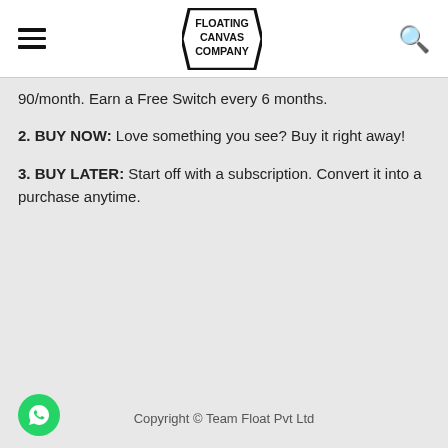Floating Canvas Company
90/month. Earn a Free Switch every 6 months.
2. BUY NOW: Love something you see? Buy it right away!
3. BUY LATER: Start off with a subscription. Convert it into a purchase anytime.
Copyright © Team Float Pvt Ltd